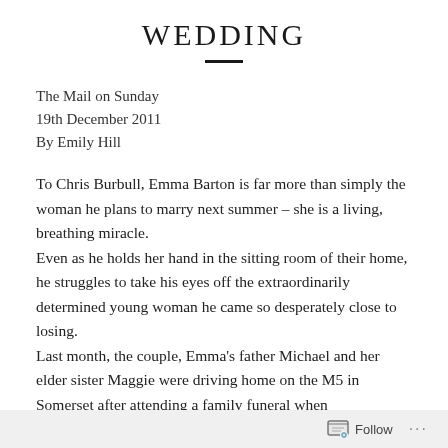WEDDING
The Mail on Sunday
19th December 2011
By Emily Hill
To Chris Burbull, Emma Barton is far more than simply the woman he plans to marry next summer – she is a living, breathing miracle.
Even as he holds her hand in the sitting room of their home, he struggles to take his eyes off the extraordinarily determined young woman he came so desperately close to losing.
Last month, the couple, Emma's father Michael and her elder sister Maggie were driving home on the M5 in Somerset after attending a family funeral when